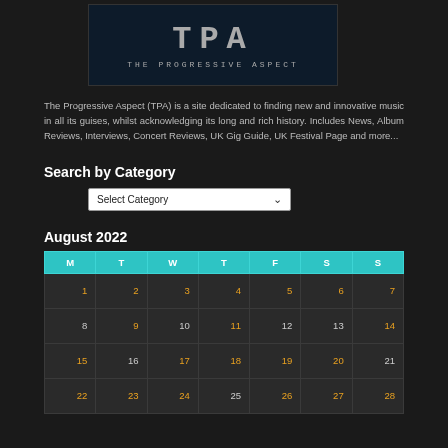[Figure (logo): The Progressive Aspect (TPA) logo — dark background with stylized TPA text and subtitle 'THE PROGRESSIVE ASPECT']
The Progressive Aspect (TPA) is a site dedicated to finding new and innovative music in all its guises, whilst acknowledging its long and rich history. Includes News, Album Reviews, Interviews, Concert Reviews, UK Gig Guide, UK Festival Page and more...
Search by Category
Select Category
August 2022
| M | T | W | T | F | S | S |
| --- | --- | --- | --- | --- | --- | --- |
| 1 | 2 | 3 | 4 | 5 | 6 | 7 |
| 8 | 9 | 10 | 11 | 12 | 13 | 14 |
| 15 | 16 | 17 | 18 | 19 | 20 | 21 |
| 22 | 23 | 24 | 25 | 26 | 27 | 28 |